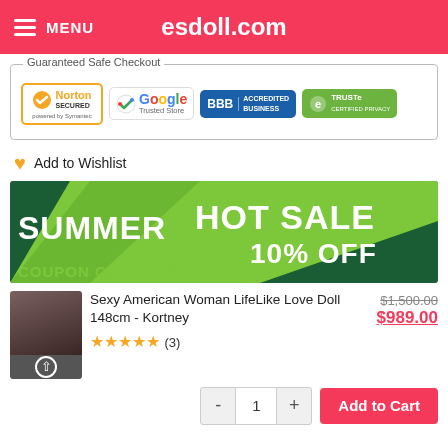MENU  esdoll.com
[Figure (infographic): Guaranteed Safe Checkout box with Norton Secured, Google Trusted Store, BBB Accredited Business, and TRUSTe Certified Privacy badges]
Add to Wishlist
[Figure (infographic): Summer Hot Sale 10% Off banner with coupon code GIVE10]
[Figure (photo): Product thumbnail for Sexy American Woman LifeLike Love Doll 148cm - Kortney]
Sexy American Woman LifeLike Love Doll 148cm - Kortney
★★★★★ (3)
$1,500.00
$989.00
- 1 + Add to Cart